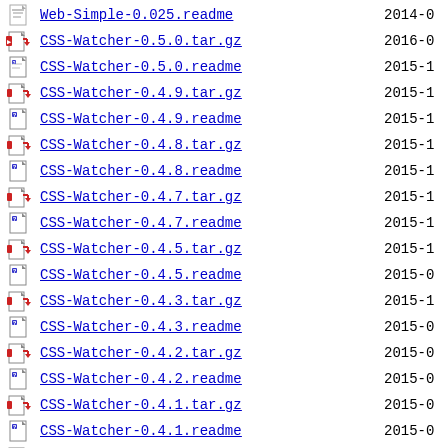Web-Simple-0.025.readme  2014-0
CSS-Watcher-0.5.0.tar.gz  2016-0
CSS-Watcher-0.5.0.readme  2015-1
CSS-Watcher-0.4.9.tar.gz  2015-1
CSS-Watcher-0.4.9.readme  2015-1
CSS-Watcher-0.4.8.tar.gz  2015-1
CSS-Watcher-0.4.8.readme  2015-1
CSS-Watcher-0.4.7.tar.gz  2015-1
CSS-Watcher-0.4.7.readme  2015-1
CSS-Watcher-0.4.5.tar.gz  2015-1
CSS-Watcher-0.4.5.readme  2015-0
CSS-Watcher-0.4.3.tar.gz  2015-1
CSS-Watcher-0.4.3.readme  2015-0
CSS-Watcher-0.4.2.tar.gz  2015-0
CSS-Watcher-0.4.2.readme  2015-0
CSS-Watcher-0.4.1.tar.gz  2015-0
CSS-Watcher-0.4.1.readme  2015-0
CSS-Watcher-0.4.0.tar.gz  2015-0